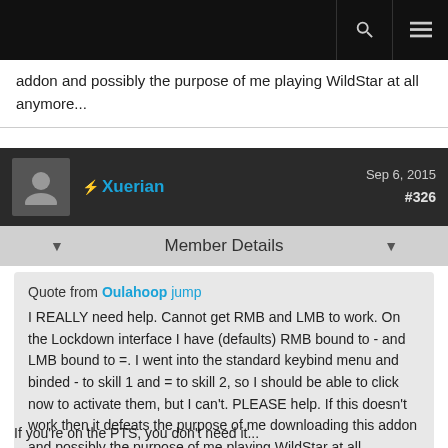Navigation bar with search and menu icons
addon and possibly the purpose of me playing WildStar at all anymore...
Xuerian  Sep 6, 2015  #326
Member Details
Quote from Oulahoop jump
I REALLY need help. Cannot get RMB and LMB to work. On the Lockdown interface I have (defaults) RMB bound to - and LMB bound to =. I went into the standard keybind menu and binded - to skill 1 and = to skill 2, so I should be able to click now to activate them, but I can't. PLEASE help. If this doesn't work then it defeats the purpose of me downloading this addon and possibly the purpose of me playing WildStar at all anymore...
If you're on the PTS, you don't need it...